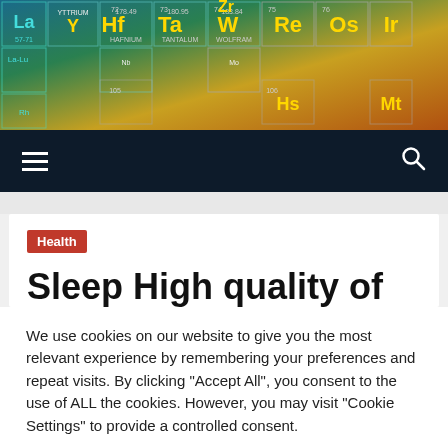[Figure (photo): Periodic table of elements background image with colorful chemical element tiles (Hf, Ta, W, Re, Os, Ir, Zr, Nb, Mo, La-Lu visible), gradient from teal/blue on left to orange/gold on right]
Navigation bar with hamburger menu icon and search icon on dark background
Health
Sleep High quality of
We use cookies on our website to give you the most relevant experience by remembering your preferences and repeat visits. By clicking "Accept All", you consent to the use of ALL the cookies. However, you may visit "Cookie Settings" to provide a controlled consent.
Cookie Settings  Accept All